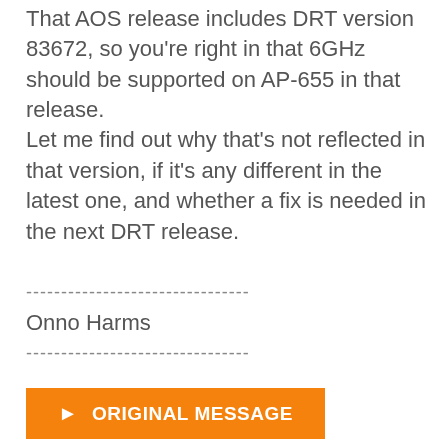That AOS release includes DRT version 83672, so you're right in that 6GHz should be supported on AP-655 in that release. Let me find out why that's not reflected in that version, if it's any different in the latest one, and whether a fix is needed in the next DRT release.
--------------------------------
Onno Harms
--------------------------------
▶ ORIGINAL MESSAGE